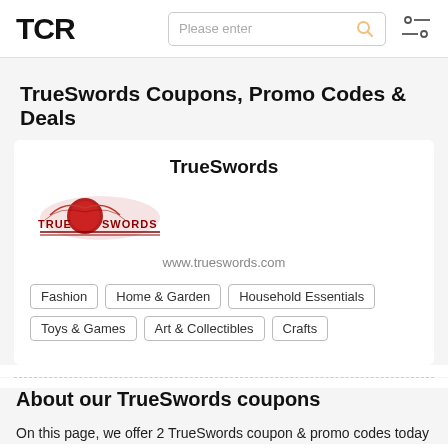TCR
TrueSwords Coupons, Promo Codes & Deals
TrueSwords
[Figure (logo): TrueSwords store logo with eagle/warrior imagery and red/gold text]
www.trueswords.com
Fashion
Home & Garden
Household Essentials
Toys & Games
Art & Collectibles
Crafts
About our TrueSwords coupons
On this page, we offer 2 TrueSwords coupon & promo codes today